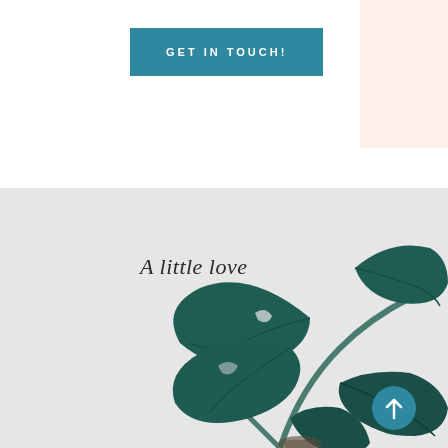[Figure (other): Teal/blue rectangular button with uppercase white text GET IN TOUCH! on white background with pink decorative box in top right corner]
[Figure (photo): Light grey background with dark green tropical plant leaves (monstera/philodendron) with text 'A little love' in italic serif font overlaid, and a teal circular scroll-to-top arrow button in bottom right]